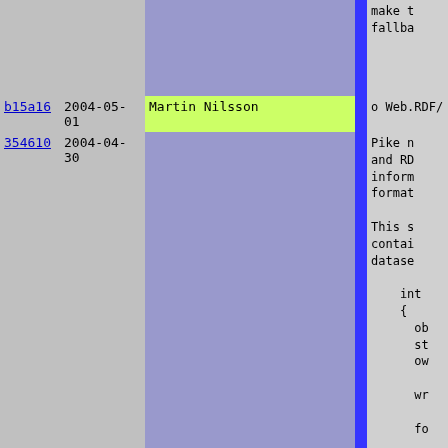| hash | date | author |  | code |
| --- | --- | --- | --- | --- |
|  |  |  |  | make t
fallba |
| b15a16 | 2004-05-01 | Martin Nilsson |  | o Web.RDF/ |
| 354610 | 2004-04-30 | Leif Stensson |  | Pike n
and RD
inform
format

This s
contai
datase

    int
    {
      ob
      st
      ow

      wr

      fo |
| 559bd4 | 2004-05-05 | Leif Stensson |  |  |
| 354610 | 2004-04-30 | Leif Stensson |  |  |
| addcdd | 2004-05-05 | Martin Nilsson |  |  |